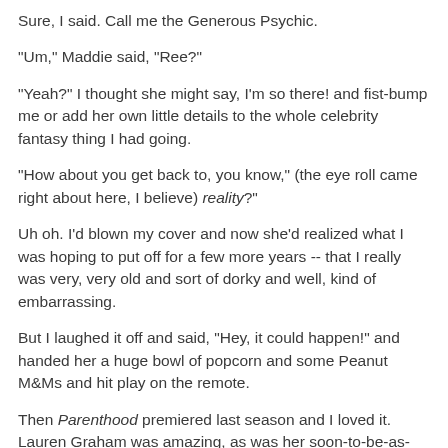Sure, I said. Call me the Generous Psychic.
"Um," Maddie said, "Ree?"
"Yeah?" I thought she might say, I'm so there! and fist-bump me or add her own little details to the whole celebrity fantasy thing I had going.
"How about you get back to, you know," (the eye roll came right about here, I believe) reality?"
Uh oh. I'd blown my cover and now she'd realized what I was hoping to put off for a few more years -- that I really was very, very old and sort of dorky and well, kind of embarrassing.
But I laughed it off and said, "Hey, it could happen!" and handed her a huge bowl of popcorn and some Peanut M&Ms and hit play on the remote.
Then Parenthood premiered last season and I loved it. Lauren Graham was amazing, as was her soon-to-be-as-